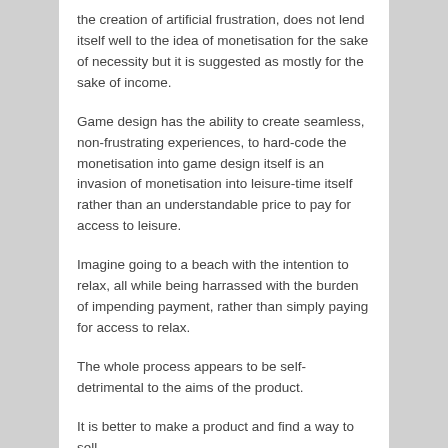the creation of artificial frustration, does not lend itself well to the idea of monetisation for the sake of necessity but it is suggested as mostly for the sake of income.
Game design has the ability to create seamless, non-frustrating experiences, to hard-code the monetisation into game design itself is an invasion of monetisation into leisure-time itself rather than an understandable price to pay for access to leisure.
Imagine going to a beach with the intention to relax, all while being harrassed with the burden of impending payment, rather than simply paying for access to relax.
The whole process appears to be self-detrimental to the aims of the product.
It is better to make a product and find a way to sell